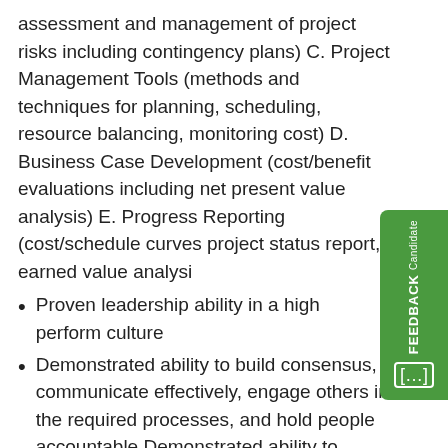assessment and management of project risks including contingency plans) C. Project Management Tools (methods and techniques for planning, scheduling, resource balancing, monitoring cost) D. Business Case Development (cost/benefit evaluations including net present value analysis) E. Progress Reporting (cost/schedule curves project status report, earned value analysi
Proven leadership ability in a high perform culture
Demonstrated ability to build consensus, communicate effectively, engage others in the required processes, and hold people accountable Demonstrated ability to develop and implement process enhancements and